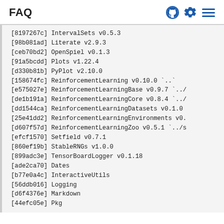FAQ
[8197267c] IntervalSets v0.5.3
[98b081ad] Literate v2.9.3
[ceb70bd2] OpenSpiel v0.1.3
[91a5bcdd] Plots v1.22.4
[d330b81b] PyPlot v2.10.0
[158674fc] ReinforcementLearning v0.10.0 `..`
[e575027e] ReinforcementLearningBase v0.9.7 `../
[de1b191a] ReinforcementLearningCore v0.8.4 `../
[dd1544ca] ReinforcementLearningDatasets v0.1.0
[25e41dd2] ReinforcementLearningEnvironments v0.
[d607f57d] ReinforcementLearningZoo v0.5.1 `../s
[efcf1570] Setfield v0.7.1
[860ef19b] StableRNGs v1.0.0
[899adc3e] TensorBoardLogger v0.1.18
[ade2ca70] Dates
[b77e0a4c] InteractiveUtils
[56ddb016] Logging
[d6f4376e] Markdown
[44efc05e] Pkg